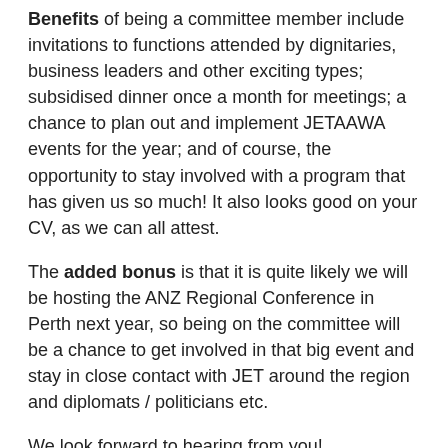Benefits of being a committee member include invitations to functions attended by dignitaries, business leaders and other exciting types; subsidised dinner once a month for meetings; a chance to plan out and implement JETAAWA events for the year; and of course, the opportunity to stay involved with a program that has given us so much! It also looks good on your CV, as we can all attest.
The added bonus is that it is quite likely we will be hosting the ANZ Regional Conference in Perth next year, so being on the committee will be a chance to get involved in that big event and stay in close contact with JET around the region and diplomats / politicians etc.
We look forward to hearing from you!
5. kaiWA